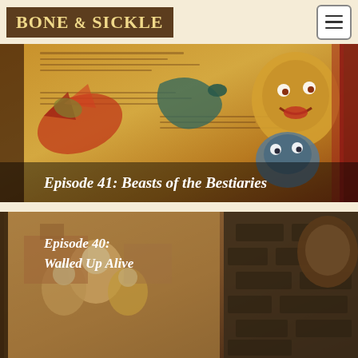BONE & SICKLE — navigation header with hamburger menu
[Figure (illustration): Podcast episode art for Episode 41: Beasts of the Bestiaries — medieval bestiary illustration featuring mythical creatures and manuscript text with white overlay text reading 'Episode 41: Beasts of the Bestiaries']
[Figure (illustration): Podcast episode art for Episode 40: Walled Up Alive — dark historical image with stone wall and figures, white overlay text reading 'Episode 40: Walled Up Alive']